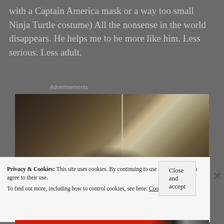with a Captain America mask or a way too small Ninja Turtle costume) All the nonsense in the world disappears. He helps me to be more like him. Less serious. Less adult.
Advertisements
[Figure (photo): Interior photo showing stairs and a room, dimly lit with warm tones and a vertical divider element]
Privacy & Cookies: This site uses cookies. By continuing to use this website, you agree to their use. To find out more, including how to control cookies, see here: Cookie Policy
Close and accept